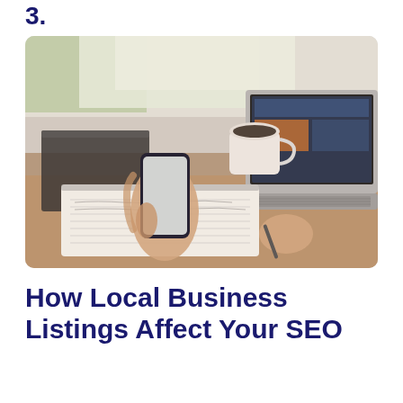3.
[Figure (photo): Person sitting at a desk holding a smartphone in one hand and a pen in the other, writing in a spiral notebook. A laptop computer is open to the right. A coffee mug and a dark spiral notebook are visible in the background near a bright window.]
How Local Business Listings Affect Your SEO